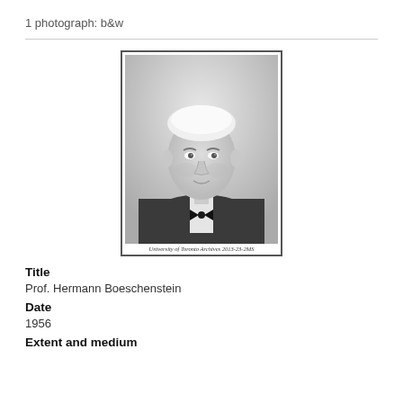1 photograph: b&w
[Figure (photo): Black and white portrait photograph of Prof. Hermann Boeschenstein, a middle-aged man with white hair wearing a suit and bow tie. Stamped at bottom: University of Toronto Archives  2013-23-2MS]
Title
Prof. Hermann Boeschenstein
Date
1956
Extent and medium